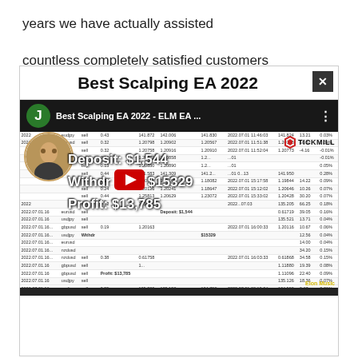years we have actually assisted
countless completely satisfied customers
[Figure (screenshot): YouTube video thumbnail for 'Best Scalping EA 2022 - ELM EA' showing a trading account statement with overlaid text: Deposit: $1,544 / Withdraw: $15329 / Profit: $13,785. Tickmill branding visible. A person avatar visible on left. YouTube play button overlay. 'Elon Music' watermark bottom right.]